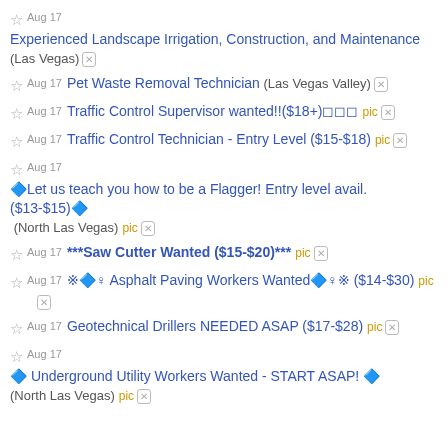Aug 17 Experienced Landscape Irrigation, Construction, and Maintenance (Las Vegas)
Aug 17 Pet Waste Removal Technician (Las Vegas Valley)
Aug 17 Traffic Control Supervisor wanted!!($18+) pic
Aug 17 Traffic Control Technician - Entry Level ($15-$18) pic
Aug 17 🔷Let us teach you how to be a Flagger! Entry level avail. ($13-$15)🔷 (North Las Vegas) pic
Aug 17 ***Saw Cutter Wanted ($15-$20)*** pic
Aug 17 ※🔷♀ Asphalt Paving Workers Wanted🔷♀※ ($14-$30) pic
Aug 17 Geotechnical Drillers NEEDED ASAP ($17-$28) pic
Aug 17 🔷 Underground Utility Workers Wanted - START ASAP! 🔷 (North Las Vegas) pic